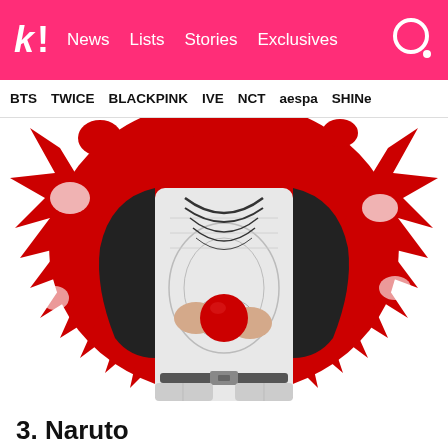k! News Lists Stories Exclusives
BTS  TWICE  BLACKPINK  IVE  NCT  aespa  SHINe
[Figure (photo): K-pop artist photo: torso shot of a person wearing a graphic print top and leather jacket, holding a red sphere, against a red paint splatter background in black and white style]
3. Naruto